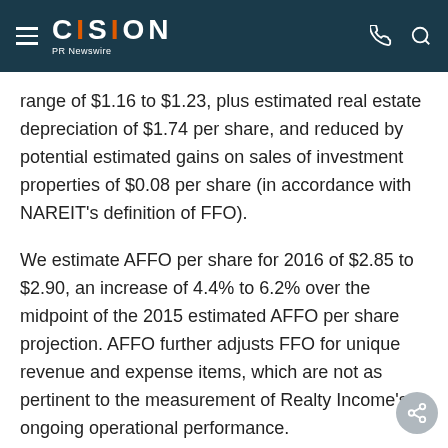CISION PR Newswire
range of $1.16 to $1.23, plus estimated real estate depreciation of $1.74 per share, and reduced by potential estimated gains on sales of investment properties of $0.08 per share (in accordance with NAREIT's definition of FFO).
We estimate AFFO per share for 2016 of $2.85 to $2.90, an increase of 4.4% to 6.2% over the midpoint of the 2015 estimated AFFO per share projection. AFFO further adjusts FFO for unique revenue and expense items, which are not as pertinent to the measurement of Realty Income's ongoing operating performance.